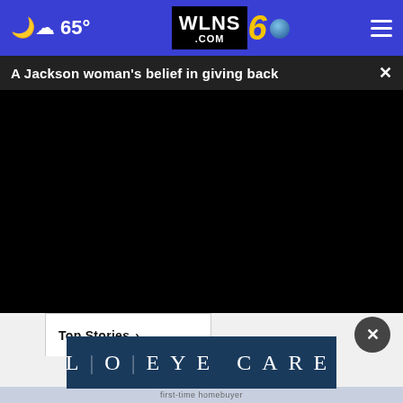65° WLNS 6 .COM
A Jackson woman's belief in giving back
[Figure (screenshot): Black video player area, video not loaded]
Top Stories ›
[Figure (logo): LO EYE CARE advertisement banner with teal/dark blue background and white sans-serif lettering]